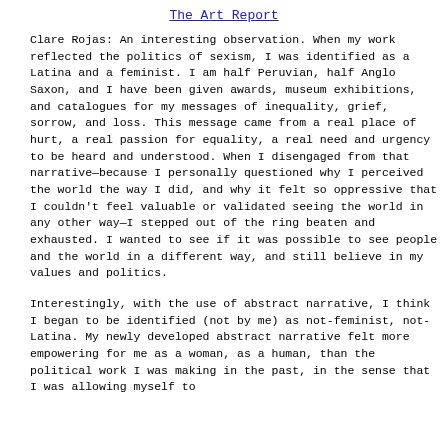The Art Report
Clare Rojas: An interesting observation. When my work reflected the politics of sexism, I was identified as a Latina and a feminist. I am half Peruvian, half Anglo Saxon, and I have been given awards, museum exhibitions, and catalogues for my messages of inequality, grief, sorrow, and loss. This message came from a real place of hurt, a real passion for equality, a real need and urgency to be heard and understood. When I disengaged from that narrative—because I personally questioned why I perceived the world the way I did, and why it felt so oppressive that I couldn't feel valuable or validated seeing the world in any other way—I stepped out of the ring beaten and exhausted. I wanted to see if it was possible to see people and the world in a different way, and still believe in my values and politics.
Interestingly, with the use of abstract narrative, I think I began to be identified (not by me) as not-feminist, not-Latina. My newly developed abstract narrative felt more empowering for me as a woman, as a human, than the political work I was making in the past, in the sense that I was allowing myself to